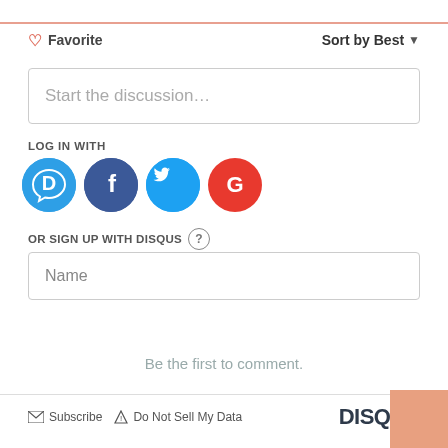Favorite   Sort by Best
Start the discussion…
LOG IN WITH
[Figure (illustration): Social login icons: Disqus (blue speech bubble D), Facebook (dark blue F), Twitter (light blue bird), Google (red G)]
OR SIGN UP WITH DISQUS ?
Name
Be the first to comment.
Subscribe   Do Not Sell My Data   DISQUS